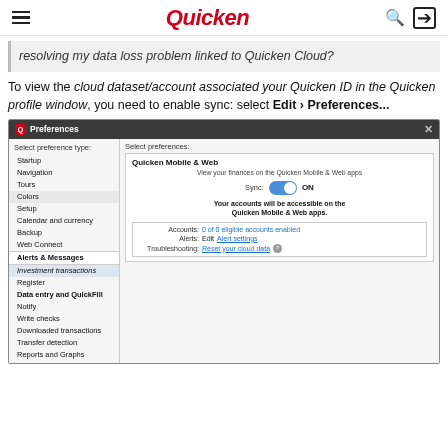Quicken
resolving my data loss problem linked to Quicken Cloud?
To view the cloud dataset/account associated your Quicken ID in the Quicken profile window, you need to enable sync: select Edit > Preferences...
[Figure (screenshot): Quicken Preferences dialog showing left panel with menu items (Startup, Navigation, Tours, Colors, Setup, Calendar and currency, Backup, Web Connect, Alerts & Messages highlighted, Investment transactions highlighted, Register, Data entry and QuickFill, Notify, Write checks, Downloaded transactions, Transfer detection, Reports and Graphs) and right panel showing Quicken Mobile & Web preferences with Sync toggle set to ON, and info rows for Accounts (0 of 0 eligible accounts enabled), Alerts (Edit Alert settings), and Troubleshooting (Reset your cloud data with help icon).]